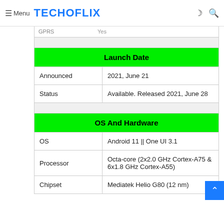Menu | TECHOFLIX
Speed — HSPA 42.2/5.76 Mbps, LTE-A | GPRS — Yes
| Launch Date |
| Announced | 2021, June 21 |
| Status | Available. Released 2021, June 28 |
| OS And Hardware |
| OS | Android 11 || One UI 3.1 |
| Processor | Octa-core (2x2.0 GHz Cortex-A75 & 6x1.8 GHz Cortex-A55) |
| Chipset | Mediatek Helio G80 (12 nm) |